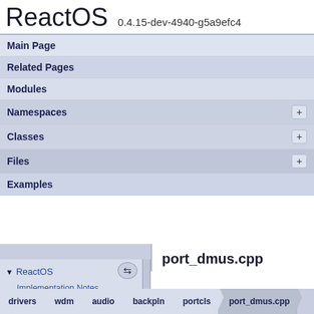ReactOS  0.4.15-dev-4940-g5a9efc4
Main Page
Related Pages
Modules
Namespaces
Classes
Files
Examples
ReactOS
Implementation Notes
Todo List
port_dmus.cpp
drivers  wdm  audio  backpln  portcls  port_dmus.cpp